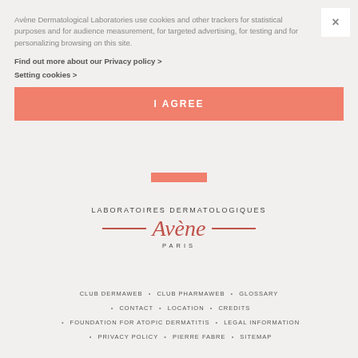Avène Dermatological Laboratories use cookies and other trackers for statistical purposes and for audience measurement, for targeted advertising, for testing and for personalizing browsing on this site.
Find out more about our Privacy policy >
Setting cookies >
I AGREE
[Figure (logo): Avène Laboratoires Dermatologiques Paris logo with decorative horizontal lines]
CLUB DERMAWEB • CLUB PHARMAWEB • GLOSSARY
CONTACT • LOCATION • CREDITS
FOUNDATION FOR ATOPIC DERMATITIS • LEGAL INFORMATION
PRIVACY POLICY • PIERRE FABRE • SITEMAP